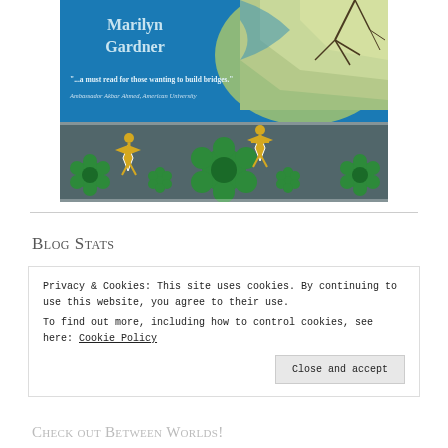[Figure (illustration): Book cover for a book by Marilyn Gardner featuring a blue background with decorative Islamic tile patterns at the bottom and a map/terrain image in the upper right. Quote: '...a must read for those wanting to build bridges.' Ambassador Akbar Ahmed, American University]
Blog Stats
Privacy & Cookies: This site uses cookies. By continuing to use this website, you agree to their use.
To find out more, including how to control cookies, see here: Cookie Policy
Close and accept
Check out Between Worlds!